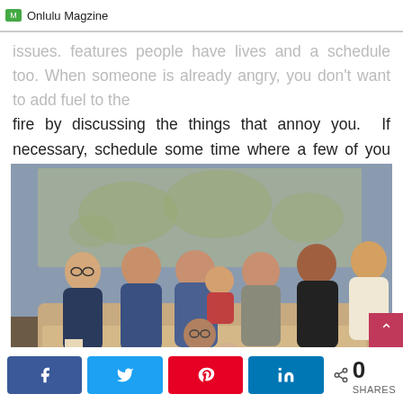Onlulu Magzine
issues. features people have lives and a schedule too.  When someone is already angry, you don't want to add fuel to the fire by discussing the things that annoy you.  If necessary, schedule some time where a few of you (or all of you) can discuss issues that are bothering you.
[Figure (photo): A family group photo of about 9 people sitting together indoors with a large world map on the wall behind them. Adults and children of various ages are seated closely together, smiling.]
Share buttons: Facebook, Twitter, Pinterest, LinkedIn — 0 SHARES